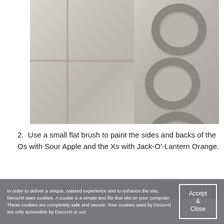[Figure (photo): Photo showing gray painted wooden tiles on the left side with grid lines, and multiple wooden letter O shapes painted gray on the right side, arranged on a surface.]
2. Use a small flat brush to paint the sides and backs of the Os with Sour Apple and the Xs with Jack-O'-Lantern Orange.
[Figure (photo): Partial photo visible at the bottom, showing a gray and darker gray surface, partially obscured by cookie banner.]
In order to deliver a unique, catered experience and to enhance the site, DecoArt uses cookies. A cookie is a simple text file that sits on your computer. These cookies are completely safe and secure. Your cookies used by DecoArt are only accessible by DecoArt or our
Accept & Close